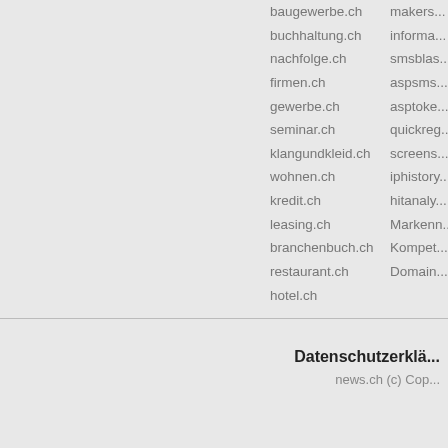[Figure (logo): news.ch logo in bold black text on white background]
baugewerbe.ch
buchhaltung.ch
nachfolge.ch
firmen.ch
gewerbe.ch
seminar.ch
klangundkleid.ch
wohnen.ch
kredit.ch
leasing.ch
branchenbuch.ch
restaurant.ch
hotel.ch
makers...
informa...
smsblas...
aspsms...
asptoke...
quickreg...
screens...
iphistory...
hitanaly...
Markenn...
Kompet...
Domain...
Datenschutzerklä...
news.ch (c) Cop...